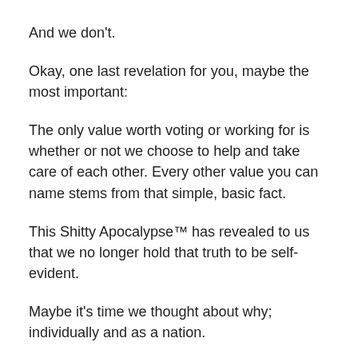And we don't.
Okay, one last revelation for you, maybe the most important:
The only value worth voting or working for is whether or not we choose to help and take care of each other. Every other value you can name stems from that simple, basic fact.
This Shitty Apocalypse™ has revealed to us that we no longer hold that truth to be self-evident.
Maybe it's time we thought about why; individually and as a nation.
I've spent a great deal of time pondering it lately.